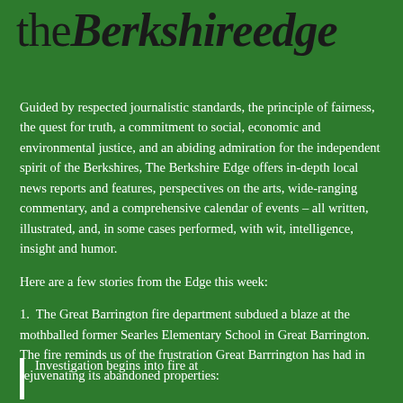the Berkshire Edge
Guided by respected journalistic standards, the principle of fairness, the quest for truth, a commitment to social, economic and environmental justice, and an abiding admiration for the independent spirit of the Berkshires, The Berkshire Edge offers in-depth local news reports and features, perspectives on the arts, wide-ranging commentary, and a comprehensive calendar of events – all written, illustrated, and, in some cases performed, with wit, intelligence, insight and humor.
Here are a few stories from the Edge this week:
1.  The Great Barrington fire department subdued a blaze at the mothballed former Searles Elementary School in Great Barrington. The fire reminds us of the frustration Great Barrrington has had in rejuvenating its abandoned properties:
Investigation begins into fire at